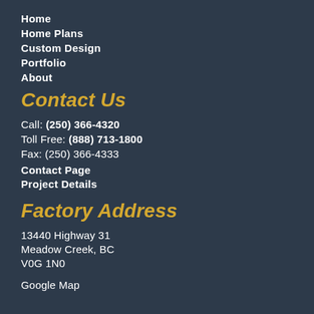Home
Home Plans
Custom Design
Portfolio
About
Contact Us
Call:  (250) 366-4320
Toll Free: (888) 713-1800
Fax:    (250) 366-4333
Contact Page
Project Details
Factory Address
13440 Highway 31
Meadow Creek, BC
V0G 1N0
Google Map